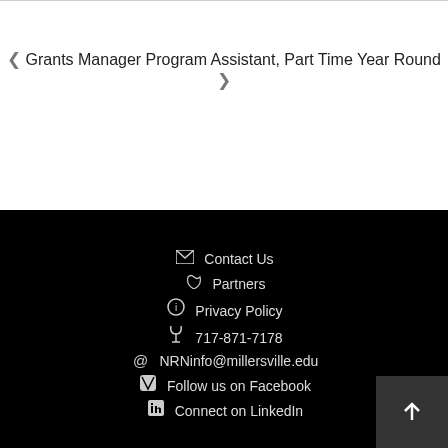< Grants Manager Program Assistant, Part Time Year Round >
Contact Us | Partners | Privacy Policy | 717-871-7178 | NRNinfo@millersville.edu | Follow us on Facebook | Connect on LinkedIn